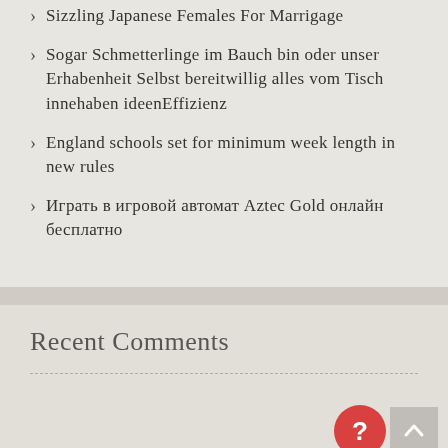Sizzling Japanese Females For Marrigage
Sogar Schmetterlinge im Bauch bin oder unser Erhabenheit Selbst bereitwillig alles vom Tisch innehaben ideenEffizienz
England schools set for minimum week length in new rules
Играть в игровой автомат Aztec Gold онлайн бесплатно
Recent Comments